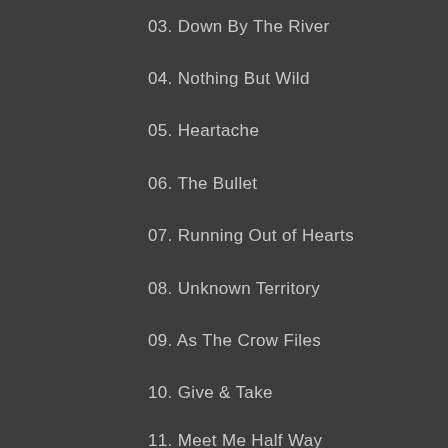03. Down By The River
04. Nothing But Wild
05. Heartache
06. The Bullet
07. Running Out of Hearts
08. Unknown Territory
09. As The Crow Files
10. Give & Take
11. Meet Me Half Way
12. Glory Road